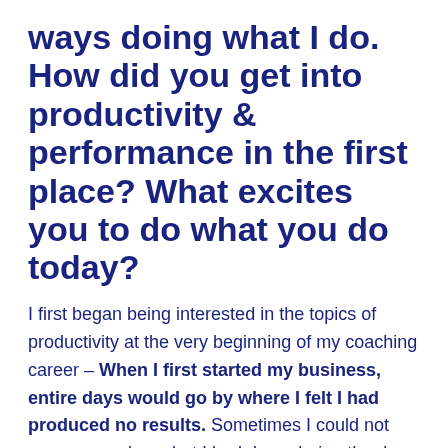ways doing what I do. How did you get into productivity & performance in the first place? What excites you to do what you do today?
I first began being interested in the topics of productivity at the very beginning of my coaching career – When I first started my business, entire days would go by where I felt I had produced no results. Sometimes I could not even remember what I had done during the day. As I was already very passionate about coaching, I was determined to make my business work and I